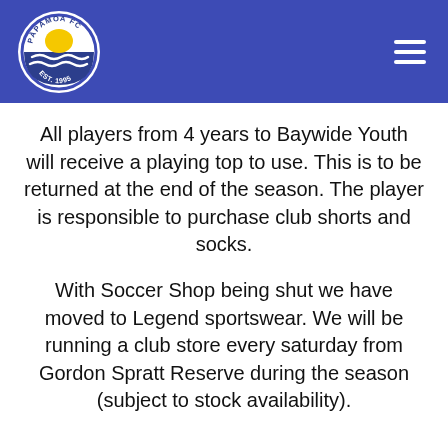[Figure (logo): Pāpāmoa FC circular logo with sun, waves, and 'EST. 1995' text on white background, set against blue/purple header bar with hamburger menu icon on the right]
All players from 4 years to Baywide Youth will receive a playing top to use. This is to be returned at the end of the season. The player is responsible to purchase club shorts and socks.
With Soccer Shop being shut we have moved to Legend sportswear. We will be running a club store every saturday from Gordon Spratt Reserve during the season (subject to stock availability).